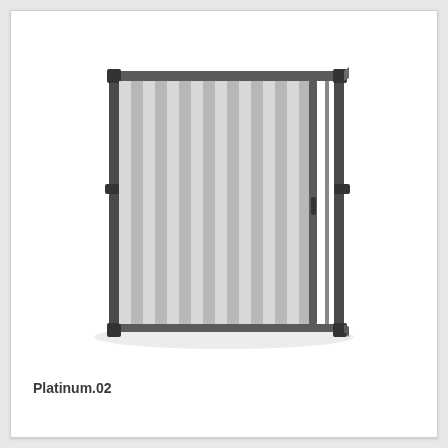[Figure (illustration): Product illustration of a sliding insect screen door system (Platinum.02) showing a partially open sliding screen with dark grey aluminum frame, pleated/folded mesh panel on the left side, and open frame track on the right. The unit is shown in perspective view on a white background with subtle floor reflection.]
Platinum.02